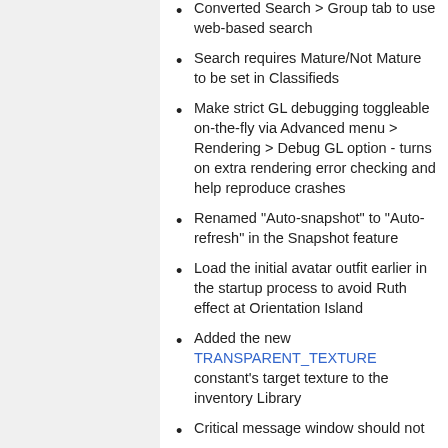Converted Search > Group tab to use web-based search
Search requires Mature/Not Mature to be set in Classifieds
Make strict GL debugging toggleable on-the-fly via Advanced menu > Rendering > Debug GL option - turns on extra rendering error checking and help reproduce crashes
Renamed "Auto-snapshot" to "Auto-refresh" in the Snapshot feature
Load the initial avatar outfit earlier in the startup process to avoid Ruth effect at Orientation Island
Added the new TRANSPARENT_TEXTURE constant's target texture to the inventory Library
Critical message window should not